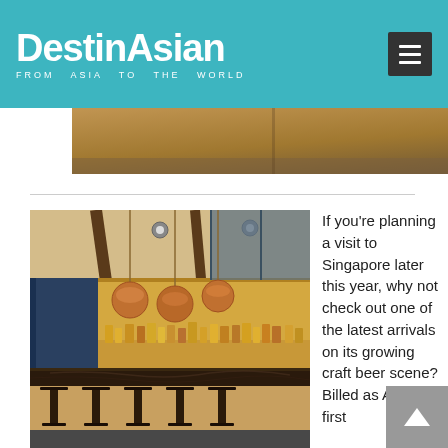DestinAsian — FROM ASIA TO THE WORLD
[Figure (photo): Partial view of a restaurant interior photo, cropped at top]
[Figure (photo): Interior of a craft beer bar/restaurant in Singapore — warm lighting, copper pendant globe lights, dark marble bar top with bar stools, refrigerated display shelves with bottles, large windows]
If you're planning a visit to Singapore later this year, why not check out one of the latest arrivals on its growing craft beer scene? Billed as Asia's first